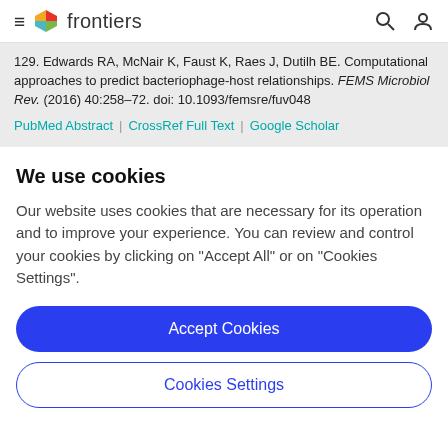frontiers
129. Edwards RA, McNair K, Faust K, Raes J, Dutilh BE. Computational approaches to predict bacteriophage-host relationships. FEMS Microbiol Rev. (2016) 40:258–72. doi: 10.1093/femsre/fuv048
PubMed Abstract | CrossRef Full Text | Google Scholar
We use cookies
Our website uses cookies that are necessary for its operation and to improve your experience. You can review and control your cookies by clicking on "Accept All" or on "Cookies Settings".
Accept Cookies
Cookies Settings